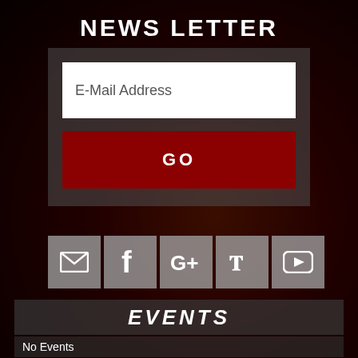NEWS LETTER
E-Mail Address
GO
[Figure (infographic): Row of 5 social media icon buttons: email envelope, Facebook f, Google G+, Twitter bird, YouTube play button. Each on a grey square background.]
EVENTS
No Events